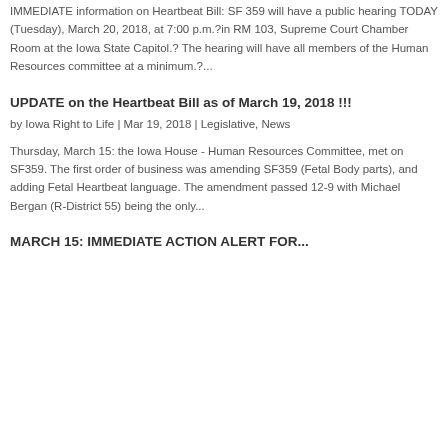IMMEDIATE information on Heartbeat Bill: SF 359 will have a public hearing TODAY (Tuesday), March 20, 2018, at 7:00 p.m.?in RM 103, Supreme Court Chamber Room at the Iowa State Capitol.? The hearing will have all members of the Human Resources committee at a minimum.?...
UPDATE on the Heartbeat Bill as of March 19, 2018 !!!
by Iowa Right to Life | Mar 19, 2018 | Legislative, News
Thursday, March 15: the Iowa House - Human Resources Committee, met on SF359. The first order of business was amending SF359 (Fetal Body parts), and adding Fetal Heartbeat language. The amendment passed 12-9 with Michael Bergan (R-District 55) being the only...
MARCH 15: IMMEDIATE ACTION ALERT for...